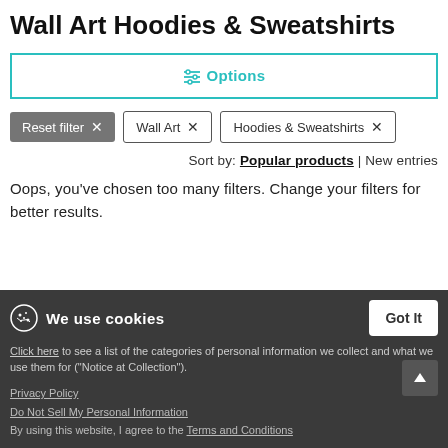Wall Art Hoodies & Sweatshirts
[Figure (other): Options filter button with teal border and teal icon/text]
[Figure (other): Filter tags: Reset filter X, Wall Art X, Hoodies & Sweatshirts X]
Sort by: Popular products | New entries
Oops, you've chosen too many filters. Change your filters for better results.
We use cookies
Click here to see a list of the categories of personal information we collect and what we use them for ("Notice at Collection").
Privacy Policy
Do Not Sell My Personal Information
By using this website, I agree to the Terms and Conditions